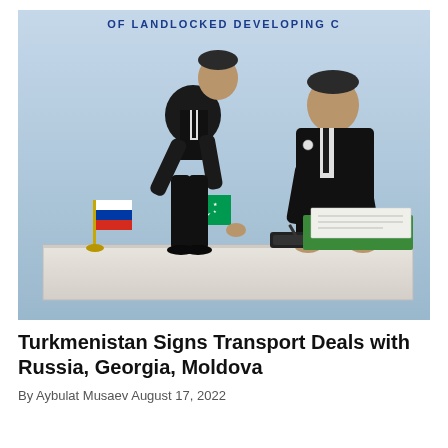[Figure (photo): Two men in dark suits at a signing ceremony. One man stands leaning over while the other sits at a white table signing documents. Russian and Turkmenistan flags on small gold stands are visible on the table. A green folder and documents are on the table. A banner in the background reads 'OF LANDLOCKED DEVELOPING C...' in blue text.]
Turkmenistan Signs Transport Deals with Russia, Georgia, Moldova
By Aybulat Musaev August 17, 2022